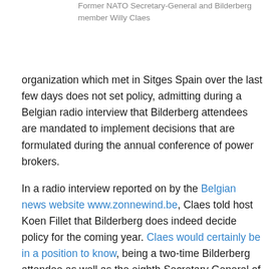Former NATO Secretary-General and Bilderberg member Willy Claes
organization which met in Sitges Spain over the last few days does not set policy, admitting during a Belgian radio interview that Bilderberg attendees are mandated to implement decisions that are formulated during the annual conference of power brokers.
In a radio interview reported on by the Belgian news website www.zonnewind.be, Claes told host Koen Fillet that Bilderberg does indeed decide policy for the coming year. Claes would certainly be in a position to know, being a two-time Bilderberg attendee as well as the eighth Secretary General of NATO from 1994 until 1995.
Claes said that Bilderberg guests are normally given around 10 minutes of talk time, after which a report is